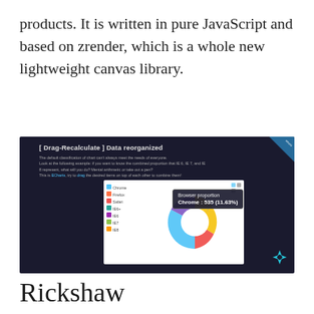products. It is written in pure JavaScript and based on zrender, which is a whole new lightweight canvas library.
[Figure (screenshot): Screenshot of ECharts interactive donut chart demo titled 'Drag-Recalculate | Data reorganized' showing a donut chart with browser proportion data. A tooltip shows 'Browser proportion Chrome: 535 (11.63%)'. Dark background with legend items for Chrome, Firefox, Safari, IE6+, IE6, IE7, IE8.]
Rickshaw
Rickshaw is a JavaScript toolkit for creating interactive time series graphs.